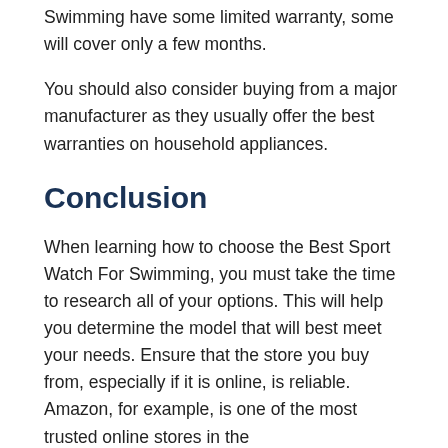Swimming have some limited warranty, some will cover only a few months.
You should also consider buying from a major manufacturer as they usually offer the best warranties on household appliances.
Conclusion
When learning how to choose the Best Sport Watch For Swimming, you must take the time to research all of your options. This will help you determine the model that will best meet your needs. Ensure that the store you buy from, especially if it is online, is reliable. Amazon, for example, is one of the most trusted online stores in the world. If you are looking to buy from a store, Ensure that it is